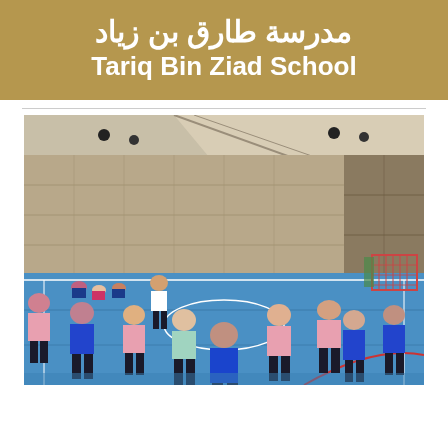مدرسة طارق بن زياد
Tariq Bin Ziad School
[Figure (photo): Children playing in a sports gymnasium with blue floors. Students wearing pink and blue shirts are running and playing. A teacher in white is supervising. Handball goal visible on the right. Indoor sports hall with high ceilings and large windows.]